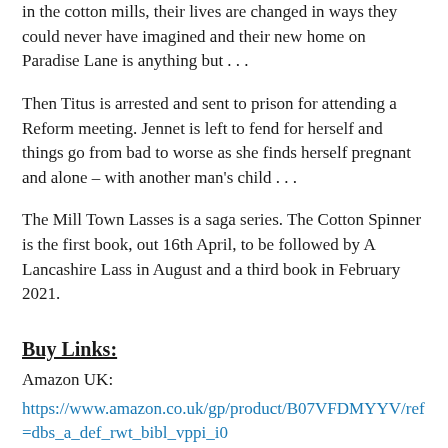in the cotton mills, their lives are changed in ways they could never have imagined and their new home on Paradise Lane is anything but . . .
Then Titus is arrested and sent to prison for attending a Reform meeting. Jennet is left to fend for herself and things go from bad to worse as she finds herself pregnant and alone – with another man's child . . .
The Mill Town Lasses is a saga series. The Cotton Spinner is the first book, out 16th April, to be followed by A Lancashire Lass in August and a third book in February 2021.
Buy Links:
Amazon UK:
https://www.amazon.co.uk/gp/product/B07VFDMYYV/ref=dbs_a_def_rwt_bibl_vppi_i0
Amazon US:
https://www.amazon.com/gp/product/B07VFDMYYV/ref=dbs